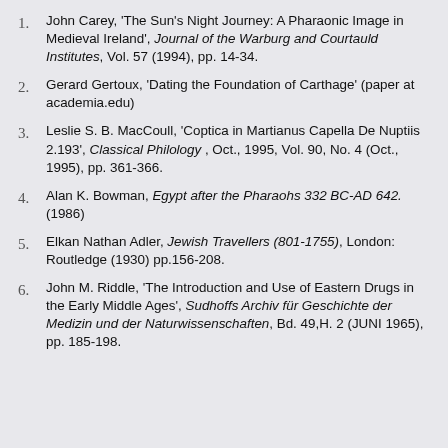John Carey, 'The Sun's Night Journey: A Pharaonic Image in Medieval Ireland', Journal of the Warburg and Courtauld Institutes, Vol. 57 (1994), pp. 14-34.
Gerard Gertoux, 'Dating the Foundation of Carthage' (paper at academia.edu)
Leslie S. B. MacCoull, 'Coptica in Martianus Capella De Nuptiis 2.193', Classical Philology, Oct., 1995, Vol. 90, No. 4 (Oct., 1995), pp. 361-366.
Alan K. Bowman, Egypt after the Pharaohs 332 BC-AD 642. (1986)
Elkan Nathan Adler, Jewish Travellers (801-1755), London: Routledge (1930) pp.156-208.
John M. Riddle, 'The Introduction and Use of Eastern Drugs in the Early Middle Ages', Sudhoffs Archiv für Geschichte der Medizin und der Naturwissenschaften, Bd. 49, H. 2 (JUNI 1965), pp. 185-198.